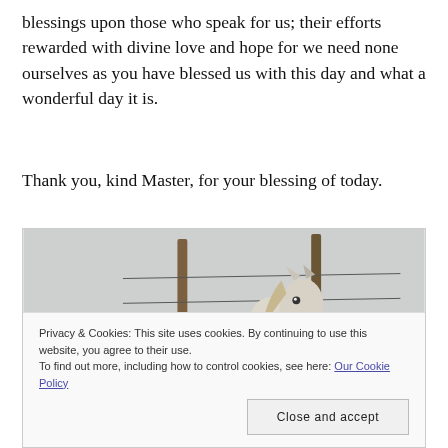blessings upon those who speak for us; their efforts rewarded with divine love and hope for we need none ourselves as you have blessed us with this day and what a wonderful day it is.
Thank you, kind Master, for your blessing of today.
[Figure (photo): A white horse standing near a wooden fence post with dry grass and a pale sky in the background.]
Privacy & Cookies: This site uses cookies. By continuing to use this website, you agree to their use.
To find out more, including how to control cookies, see here: Our Cookie Policy